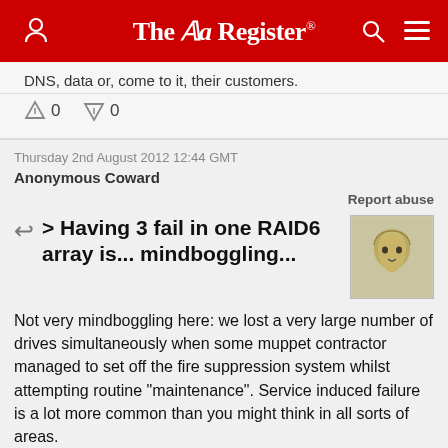The Register
DNS, data or, come to it, their customers.
↑0  ↓0
Thursday 2nd August 2012 12:44 GMT
Anonymous Coward
Report abuse
> Having 3 fail in one RAID6 array is... mindboggling...
Not very mindboggling here: we lost a very large number of drives simultaneously when some muppet contractor managed to set off the fire suppression system whilst attempting routine "maintenance". Service induced failure is a lot more common than you might think in all sorts of areas.
Most likely they had an old copy of the data sitting